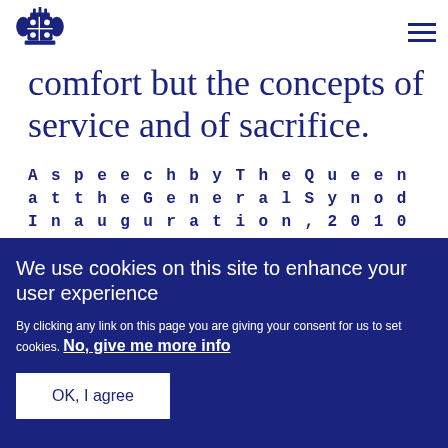[Figure (logo): Royal coat of arms logo in dark blue]
comfort but the concepts of service and of sacrifice.
A speech by The Queen at the General Synod Inauguration, 2010
We use cookies on this site to enhance your user experience
By clicking any link on this page you are giving your consent for us to set cookies. No, give me more info
OK, I agree